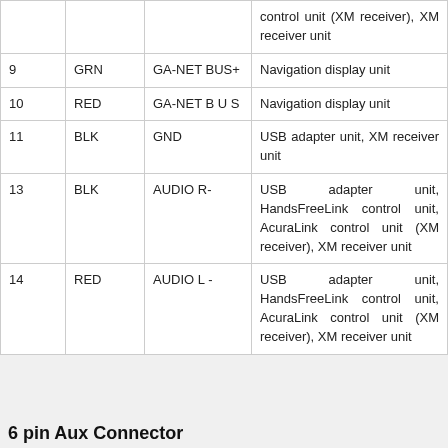|  |  |  | control unit (XM receiver), XM receiver unit |
| 9 | GRN | GA-NET BUS+ | Navigation display unit |
| 10 | RED | GA-NET B U S | Navigation display unit |
| 11 | BLK | GND | USB adapter unit, XM receiver unit |
| 13 | BLK | AUDIO R- | USB adapter unit, HandsFreeLink control unit, AcuraLink control unit (XM receiver), XM receiver unit |
| 14 | RED | AUDIO L - | USB adapter unit, HandsFreeLink control unit, AcuraLink control unit (XM receiver), XM receiver unit |
6 pin Aux Connector